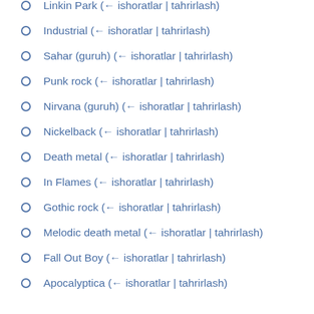Linkin Park  (← ishoratlar | tahrirlash)
Industrial  (← ishoratlar | tahrirlash)
Sahar (guruh)  (← ishoratlar | tahrirlash)
Punk rock  (← ishoratlar | tahrirlash)
Nirvana (guruh)  (← ishoratlar | tahrirlash)
Nickelback  (← ishoratlar | tahrirlash)
Death metal  (← ishoratlar | tahrirlash)
In Flames  (← ishoratlar | tahrirlash)
Gothic rock  (← ishoratlar | tahrirlash)
Melodic death metal  (← ishoratlar | tahrirlash)
Fall Out Boy  (← ishoratlar | tahrirlash)
Apocalyptica  (← ishoratlar | tahrirlash)